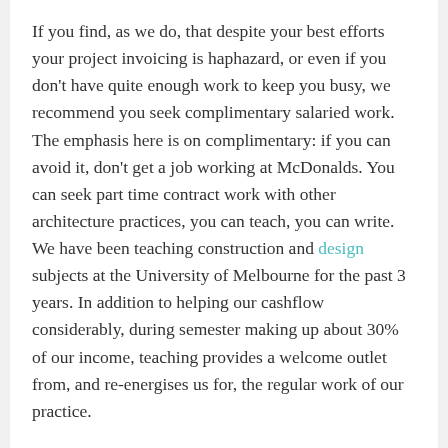If you find, as we do, that despite your best efforts your project invoicing is haphazard, or even if you don't have quite enough work to keep you busy, we recommend you seek complimentary salaried work. The emphasis here is on complimentary: if you can avoid it, don't get a job working at McDonalds. You can seek part time contract work with other architecture practices, you can teach, you can write. We have been teaching construction and design subjects at the University of Melbourne for the past 3 years. In addition to helping our cashflow considerably, during semester making up about 30% of our income, teaching provides a welcome outlet from, and re-energises us for, the regular work of our practice.
SHARE THIS: